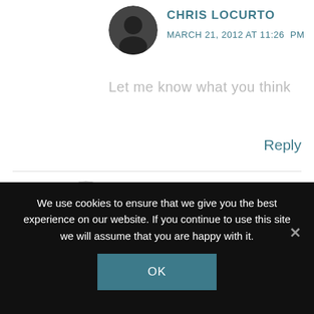CHRIS LOCURTO
MARCH 21, 2012 AT 11:26  PM
Let me know what you think
Reply
ACCUCONTRIVE
MARCH 1, 2012 AT 3:17  PM
We use cookies to ensure that we give you the best experience on our website. If you continue to use this site we will assume that you are happy with it.
OK